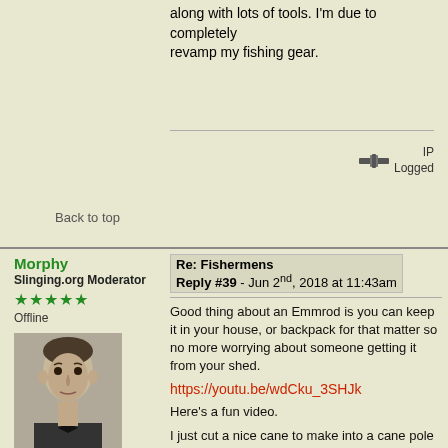along with lots of tools.  I'm due to completely revamp my fishing gear.
IP Logged
Back to top
Morphy
Slinging.org Moderator
Offline
[Figure (photo): Black and white portrait photo of a man in formal attire]
Checkmate
Posts: 7885
Re: Fishermens
Reply #39 - Jun 2nd, 2018 at 11:43am
Good thing about an Emmrod is you can keep it in your house, or backpack for that matter so no more worrying about someone getting it from your shed.
https://youtu.be/wdCku_3SHJk
Here's a fun video.
I just cut a nice cane to make into a cane pole and had to go look up videos on people fishing with them.
This got me thinking, has anyone here ever tried to put an actual reel on a cane pole?
"I think this guy is the king of trolls of the forum, he waited 16 years just to say this. please pay your respects in an orderly fashion."-Sarosh